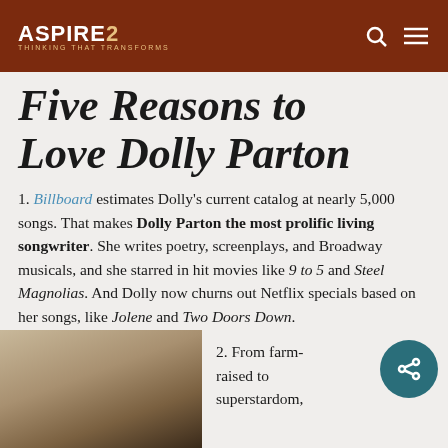ASPIRE2 — THINKING THAT TRANSFORMS
Five Reasons to Love Dolly Parton
1. Billboard estimates Dolly's current catalog at nearly 5,000 songs. That makes Dolly Parton the most prolific living songwriter. She writes poetry, screenplays, and Broadway musicals, and she starred in hit movies like 9 to 5 and Steel Magnolias. And Dolly now churns out Netflix specials based on her songs, like Jolene and Two Doors Down.
[Figure (photo): Black and white photograph partially visible at bottom left of page]
2. From farm-raised to superstardom,